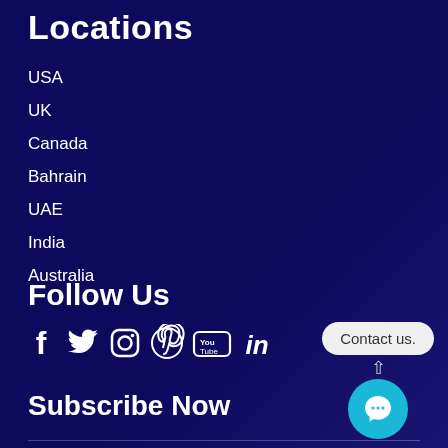Locations
USA
UK
Canada
Bahrain
UAE
India
Australia
Follow Us
[Figure (infographic): Social media icons row: Facebook, Twitter, Instagram, Pinterest, YouTube, LinkedIn]
Subscribe Now
[Figure (infographic): Contact us chat button with speech bubble tooltip showing 'Contact us.' and teal circular chat icon]